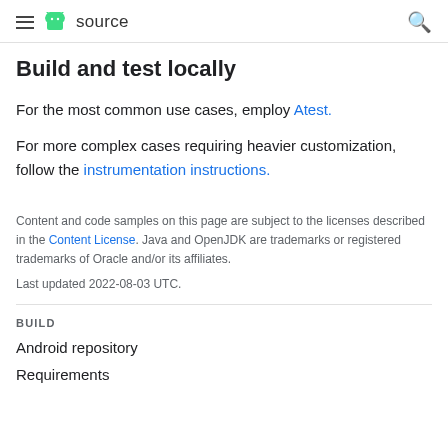≡ source [search icon]
Build and test locally
For the most common use cases, employ Atest.
For more complex cases requiring heavier customization, follow the instrumentation instructions.
Content and code samples on this page are subject to the licenses described in the Content License. Java and OpenJDK are trademarks or registered trademarks of Oracle and/or its affiliates.
Last updated 2022-08-03 UTC.
BUILD
Android repository
Requirements